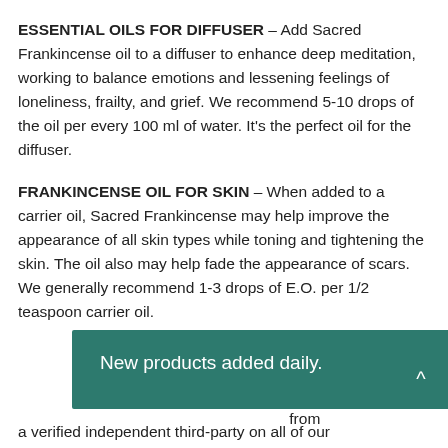ESSENTIAL OILS FOR DIFFUSER – Add Sacred Frankincense oil to a diffuser to enhance deep meditation, working to balance emotions and lessening feelings of loneliness, frailty, and grief. We recommend 5-10 drops of the oil per every 100 ml of water. It's the perfect oil for the diffuser.
FRANKINCENSE OIL FOR SKIN – When added to a carrier oil, Sacred Frankincense may help improve the appearance of all skin types while toning and tightening the skin. The oil also may help fade the appearance of scars. We generally recommend 1-3 drops of E.O. per 1/2 teaspoon carrier oil.
New products added daily.
a verified independent third-party on all of our